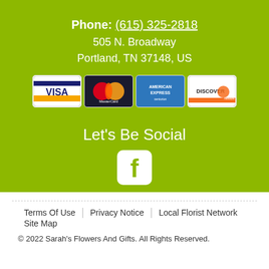Phone: (615) 325-2818
505 N. Broadway
Portland, TN 37148, US
[Figure (other): Payment card logos: Visa, MasterCard, American Express, Discover]
Let's Be Social
[Figure (illustration): Facebook icon (white f on rounded square)]
Terms Of Use | Privacy Notice | Local Florist Network | Site Map
© 2022 Sarah's Flowers And Gifts. All Rights Reserved.